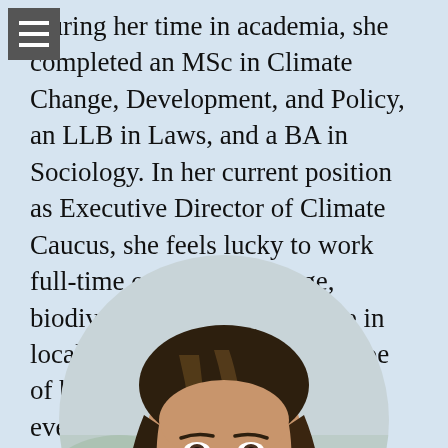During her time in academia, she completed an MSc in Climate Change, Development, and Policy, an LLB in Laws, and a BA in Sociology. In her current position as Executive Director of Climate Caucus, she feels lucky to work full-time on climate change, biodiversity, and social justice in local governments, with the hope of building a better future for everyone.
[Figure (photo): Circular portrait photo of a woman with dark hair, smiling, against a light outdoor background]